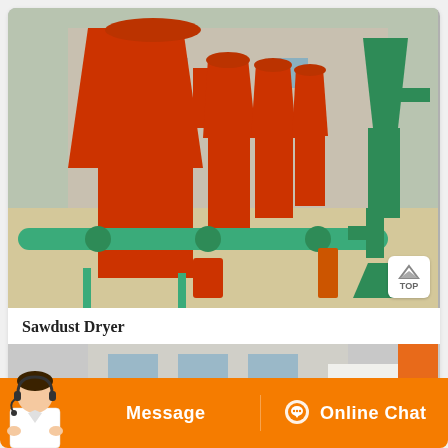[Figure (photo): Industrial sawdust dryer machines - red conical cyclone dryers and green screw conveyors arranged in a factory yard with a building in the background]
Sawdust Dryer
[Figure (photo): Partial view of industrial machinery - orange and white equipment in a factory setting]
Message
Online Chat